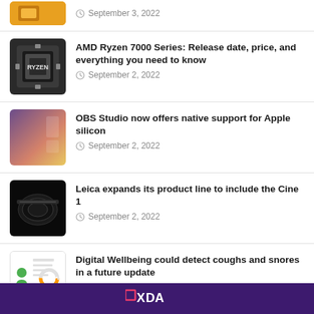September 3, 2022 (partial item, top)
AMD Ryzen 7000 Series: Release date, price, and everything you need to know — September 2, 2022
OBS Studio now offers native support for Apple silicon — September 2, 2022
Leica expands its product line to include the Cine 1 — September 2, 2022
Digital Wellbeing could detect coughs and snores in a future update — September 2, 2022
XDA